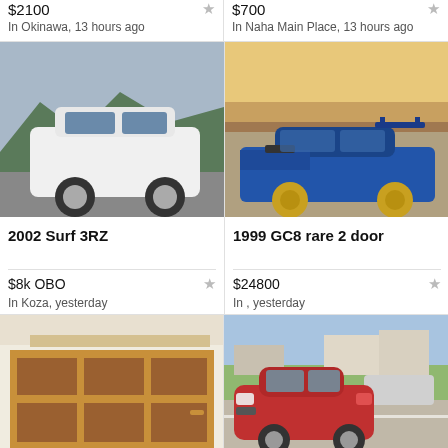$2100 — In Okinawa, 13 hours ago
$700 — In Naha Main Place, 13 hours ago
[Figure (photo): White Toyota Surf/4Runner SUV parked outdoors with mountains in background]
2002 Surf 3RZ
$8k OBO
In Koza, yesterday
[Figure (photo): Blue 1999 Subaru Impreza GC8 2-door coupe with gold wheels parked outdoors at sunset]
1999 GC8 rare 2 door
$24800
In , yesterday
[Figure (photo): Wooden bookshelf/shelving unit with multiple compartments]
...
[Figure (photo): Red Nissan March/Micra compact car parked in a lot]
2003 Nissan March...